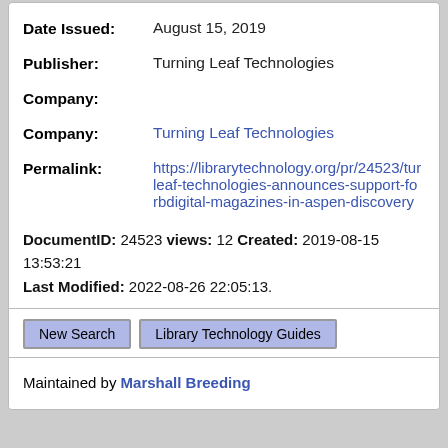Date Issued: August 15, 2019
Publisher: Turning Leaf Technologies
Company:
Company: Turning Leaf Technologies
Permalink: https://librarytechnology.org/pr/24523/turning-leaf-technologies-announces-support-for-rbdigital-magazines-in-aspen-discovery
DocumentID: 24523 views: 12 Created: 2019-08-15 13:53:21 Last Modified: 2022-08-26 22:05:13.
New Search
Library Technology Guides
Maintained by Marshall Breeding